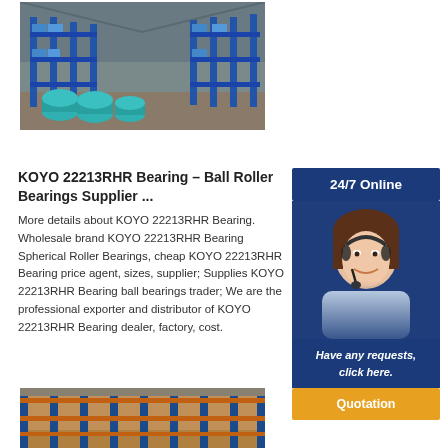[Figure (photo): Warehouse interior with blue metal shelving racks stocked with bearing products, teal drums in foreground]
KOYO 22213RHR Bearing – Ball Roller Bearings Supplier ...
More details about KOYO 22213RHR Bearing. Wholesale brand KOYO 22213RHR Bearing Spherical Roller Bearings, cheap KOYO 22213RHR Bearing price agent, sizes, supplier; Supplies KOYO 22213RHR Bearing ball bearings trader; We are the professional exporter and distributor of KOYO 22213RHR Bearing dealer, factory, cost.
[Figure (infographic): 24/7 Online customer service widget with agent photo, 'Have any requests, click here.' text, and Quotation button]
[Figure (photo): Warehouse interior with orange and blue metal shelving racks]